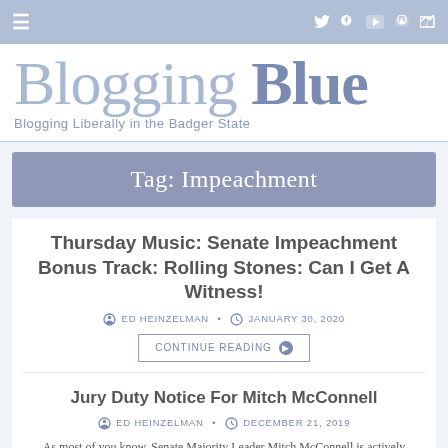≡  [twitter] [facebook] [youtube] [rss]
Blogging Blue
Blogging Liberally in the Badger State
Tag: Impeachment
Thursday Music: Senate Impeachment Bonus Track: Rolling Stones: Can I Get A Witness!
ED HEINZELMAN  •  JANUARY 30, 2020
CONTINUE READING ◎
Jury Duty Notice For Mitch McConnell
ED HEINZELMAN  •  DECEMBER 21, 2019
As most of you know, Senate Majority Leader Mitch McConnell is actively coordinating the Senate trial procedures with the White House